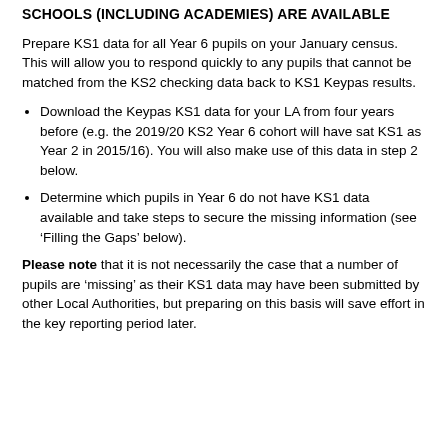SCHOOLS (INCLUDING ACADEMIES) ARE AVAILABLE
Prepare KS1 data for all Year 6 pupils on your January census. This will allow you to respond quickly to any pupils that cannot be matched from the KS2 checking data back to KS1 Keypas results.
Download the Keypas KS1 data for your LA from four years before (e.g. the 2019/20 KS2 Year 6 cohort will have sat KS1 as Year 2 in 2015/16). You will also make use of this data in step 2 below.
Determine which pupils in Year 6 do not have KS1 data available and take steps to secure the missing information (see ‘Filling the Gaps’ below).
Please note that it is not necessarily the case that a number of pupils are ‘missing’ as their KS1 data may have been submitted by other Local Authorities, but preparing on this basis will save effort in the key reporting period later.